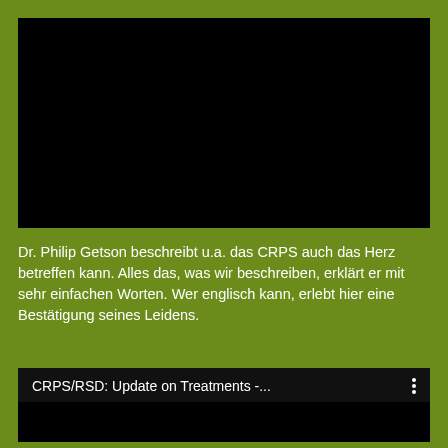[Figure (screenshot): Black video player rectangle at the top of the page]
Dr. Philip Getson beschreibt u.a. das CRPS auch das Herz betreffen kann. Alles das, was wir beschreiben, erklärt er mit sehr einfachen Worten. Wer englisch kann, erlebt hier eine Bestätigung seines Leidens.
[Figure (screenshot): Black video player rectangle at the bottom with title 'CRPS/RSD: Update on Treatments -...' and three-dot menu icon]